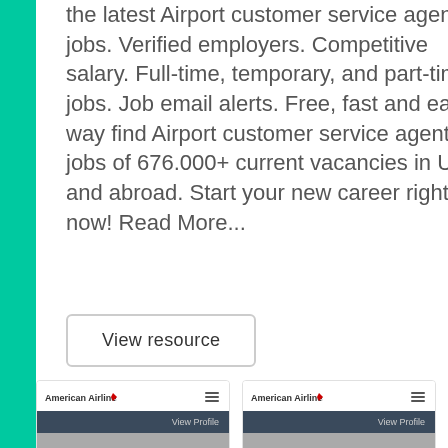the latest Airport customer service agent jobs. Verified employers. Competitive salary. Full-time, temporary, and part-time jobs. Job email alerts. Free, fast and easy way find Airport customer service agent jobs of 676.000+ current vacancies in USA and abroad. Start your new career right now! Read More...
View resource
[Figure (screenshot): American Airlines website card showing logo, hamburger menu, View Profile button on dark bar]
[Figure (screenshot): American Airlines website card showing logo, hamburger menu, View Profile button on dark bar]